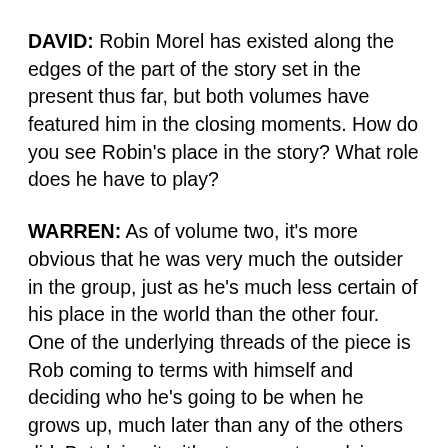DAVID: Robin Morel has existed along the edges of the part of the story set in the present thus far, but both volumes have featured him in the closing moments. How do you see Robin's place in the story? What role does he have to play?
WARREN: As of volume two, it's more obvious that he was very much the outsider in the group, just as he's much less certain of his place in the world than the other four. One of the underlying threads of the piece is Rob coming to terms with himself and deciding who he's going to be when he grows up, much later than any of the others did. But doing it without support or advice. Well, without advice from anyone we would describe as "living," anyway. His journey is kind of the dark undertow of the book. He may not be going